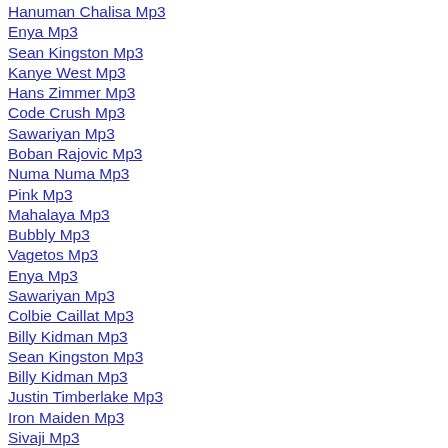Hanuman Chalisa Mp3
Enya Mp3
Sean Kingston Mp3
Kanye West Mp3
Hans Zimmer Mp3
Code Crush Mp3
Sawariyan Mp3
Boban Rajovic Mp3
Numa Numa Mp3
Pink Mp3
Mahalaya Mp3
Bubbly Mp3
Vagetos Mp3
Enya Mp3
Sawariyan Mp3
Colbie Caillat Mp3
Billy Kidman Mp3
Sean Kingston Mp3
Billy Kidman Mp3
Justin Timberlake Mp3
Iron Maiden Mp3
Sivaji Mp3
Outlandish Mp3
Home Mp3
Gummy Bear Mp3